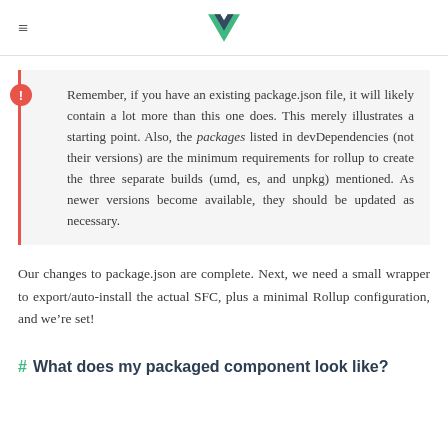Vue.js documentation page header with hamburger menu and Vue logo
Remember, if you have an existing package.json file, it will likely contain a lot more than this one does. This merely illustrates a starting point. Also, the packages listed in devDependencies (not their versions) are the minimum requirements for rollup to create the three separate builds (umd, es, and unpkg) mentioned. As newer versions become available, they should be updated as necessary.
Our changes to package.json are complete. Next, we need a small wrapper to export/auto-install the actual SFC, plus a minimal Rollup configuration, and we’re set!
# What does my packaged component look like?